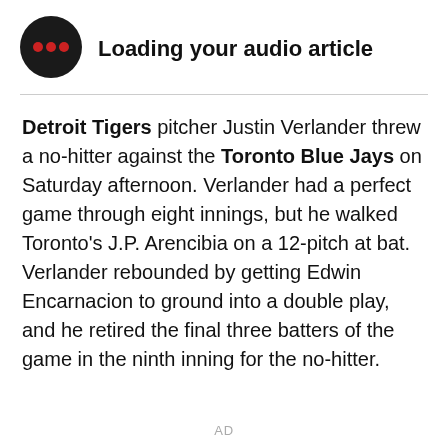[Figure (illustration): Black circular podcast/audio player icon with two red dots and one smaller red dot on a black background, indicating a loading audio state]
Loading your audio article
Detroit Tigers pitcher Justin Verlander threw a no-hitter against the Toronto Blue Jays on Saturday afternoon. Verlander had a perfect game through eight innings, but he walked Toronto's J.P. Arencibia on a 12-pitch at bat. Verlander rebounded by getting Edwin Encarnacion to ground into a double play, and he retired the final three batters of the game in the ninth inning for the no-hitter.
AD